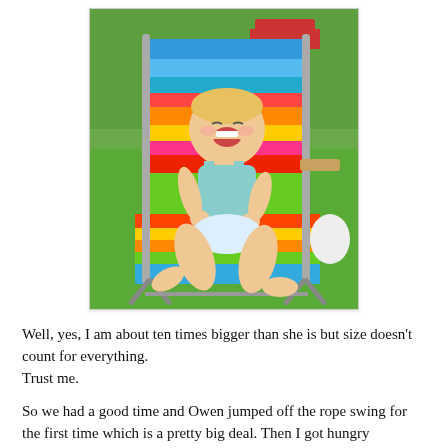[Figure (photo): A laughing toddler girl sitting in a colorful striped beach/lawn chair outdoors on green grass, wearing a light blue tank top. The chair has bright rainbow stripes. There is a vehicle and trees visible in the background.]
Well, yes, I am about ten times bigger than she is but size doesn't count for everything.
Trust me.
So we had a good time and Owen jumped off the rope swing for the first time which is a pretty big deal. Then I got hungry